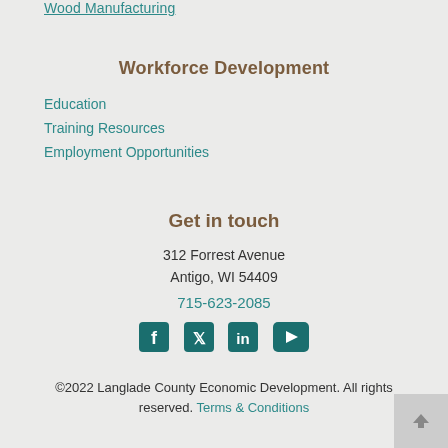Wood Manufacturing
Workforce Development
Education
Training Resources
Employment Opportunities
Get in touch
312 Forrest Avenue
Antigo, WI 54409
715-623-2085
[Figure (infographic): Social media icons: Facebook, Twitter, LinkedIn, YouTube]
©2022 Langlade County Economic Development. All rights reserved. Terms & Conditions